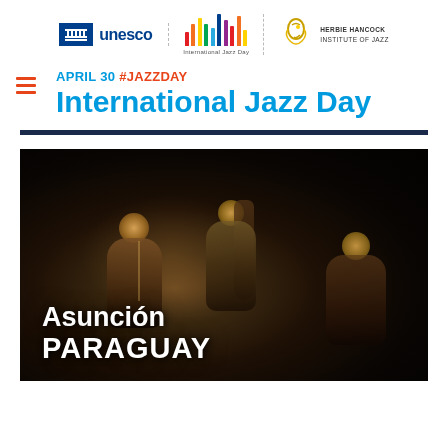[Figure (logo): UNESCO logo, International Jazz Day logo, and Herbie Hancock Institute of Jazz logo in header]
APRIL 30 #JAZZDAY
International Jazz Day
[Figure (photo): Dark concert photo of jazz musicians performing on stage, with text overlay reading 'Asunción PARAGUAY']